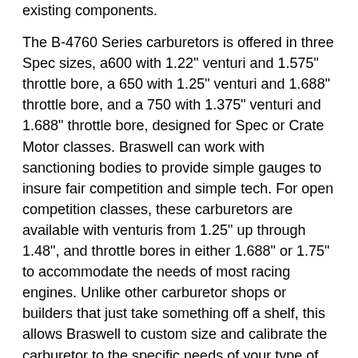existing components.
The B-4760 Series carburetors is offered in three Spec sizes, a600 with 1.22" venturi and 1.575" throttle bore, a 650 with 1.25" venturi and 1.688" throttle bore, and a 750 with 1.375" venturi and 1.688" throttle bore, designed for Spec or Crate Motor classes. Braswell can work with sanctioning bodies to provide simple gauges to insure fair competition and simple tech. For open competition classes, these carburetors are available with venturis from 1.25" up through 1.48", and throttle bores in either 1.688" or 1.75" to accommodate the needs of most racing engines. Unlike other carburetor shops or builders that just take something off a shelf, this allows Braswell to custom size and calibrate the carburetor to the specific needs of your type of racing, engine, chassis, fuel, track, and driving style.
Features:
Calibration for gasoline, methanol, &